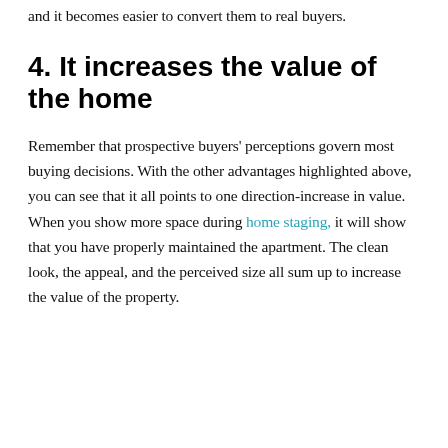and it becomes easier to convert them to real buyers.
4. It increases the value of the home
Remember that prospective buyers' perceptions govern most buying decisions. With the other advantages highlighted above, you can see that it all points to one direction-increase in value. When you show more space during home staging, it will show that you have properly maintained the apartment. The clean look, the appeal, and the perceived size all sum up to increase the value of the property.